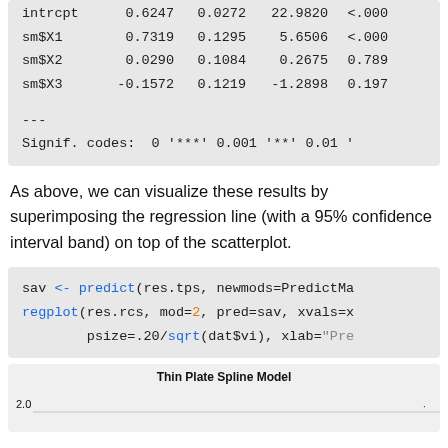|  | Estimate | Std. Error | t value | Pr(>|t|) |
| --- | --- | --- | --- | --- |
| intrcpt | 0.6247 | 0.0272 | 22.9820 | <.000 |
| sm$X1 | 0.7319 | 0.1295 | 5.6506 | <.000 |
| sm$X2 | 0.0290 | 0.1084 | 0.2675 | 0.789 |
| sm$X3 | -0.1572 | 0.1219 | -1.2898 | 0.197 |
---
Signif. codes:  0 '***' 0.001 '**' 0.01 '
As above, we can visualize these results by superimposing the regression line (with a 95% confidence interval band) on top of the scatterplot.
sav <- predict(res.tps, newmods=PredictMa
regplot(res.rcs, mod=2, pred=sav, xvals=x
        psize=.20/sqrt(dat$vi), xlab="Pre
[Figure (continuous-plot): Thin Plate Spline Model scatter/regression plot, y-axis showing 2.0 label, title 'Thin Plate Spline Model']